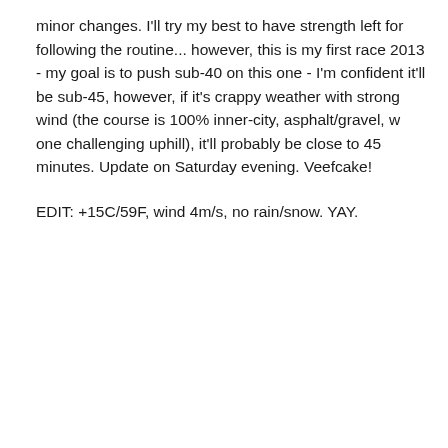minor changes. I'll try my best to have strength left for following the routine... however, this is my first race 2013 - my goal is to push sub-40 on this one - I'm confident it'll be sub-45, however, if it's crappy weather with strong wind (the course is 100% inner-city, asphalt/gravel, w one challenging uphill), it'll probably be close to 45 minutes. Update on Saturday evening. Veefcake!
EDIT: +15C/59F, wind 4m/s, no rain/snow. YAY.